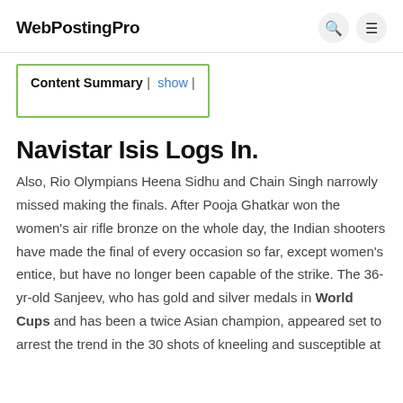WebPostingPro
Content Summary [ show ]
Navistar Isis Logs In.
Also, Rio Olympians Heena Sidhu and Chain Singh narrowly missed making the finals. After Pooja Ghatkar won the women's air rifle bronze on the whole day, the Indian shooters have made the final of every occasion so far, except women's entice, but have no longer been capable of the strike. The 36-yr-old Sanjeev, who has gold and silver medals in World Cups and has been a twice Asian champion, appeared set to arrest the trend in the 30 shots of kneeling and susceptible at